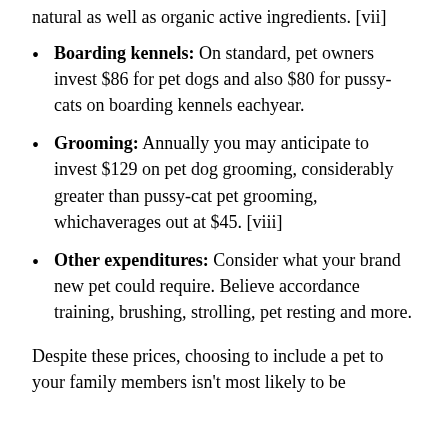natural as well as organic active ingredients. [vii]
Boarding kennels: On standard, pet owners invest $86 for pet dogs and also $80 for pussy-cats on boarding kennels eachyear.
Grooming: Annually you may anticipate to invest $129 on pet dog grooming, considerably greater than pussy-cat pet grooming, whichaverages out at $45. [viii]
Other expenditures: Consider what your brand new pet could require. Believe accordance training, brushing, strolling, pet resting and more.
Despite these prices, choosing to include a pet to your family members isn't most likely to be